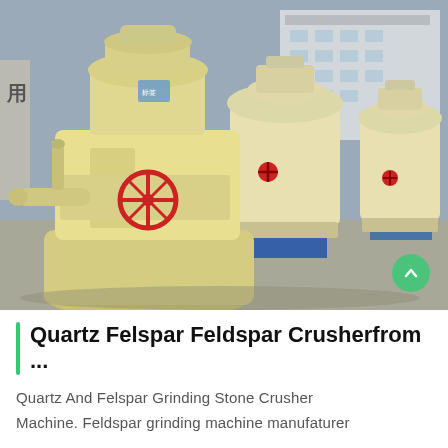[Figure (photo): Multiple large yellow industrial grinding/crushing machines (Feldspar/Quartz crushers) parked outdoors in a factory yard with a building visible in the background. The machines are cream/yellow colored with red valve wheels and blue base supports.]
Quartz Felspar Feldspar Crusherfrom ...
Quartz And Felspar Grinding Stone Crusher Machine. Feldspar grinding machine manufaturer